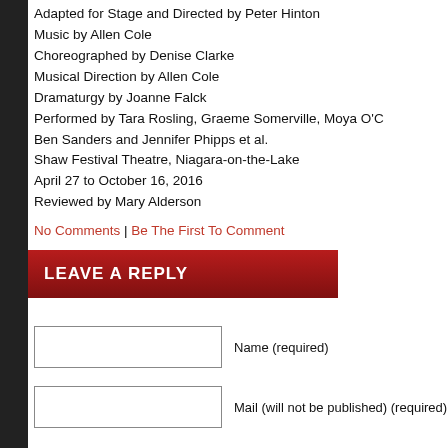Adapted for Stage and Directed by Peter Hinton
Music by Allen Cole
Choreographed by Denise Clarke
Musical Direction by Allen Cole
Dramaturgy by Joanne Falck
Performed by Tara Rosling, Graeme Somerville, Moya O'C...
Ben Sanders and Jennifer Phipps et al.
Shaw Festival Theatre, Niagara-on-the-Lake
April 27 to October 16, 2016
Reviewed by Mary Alderson
No Comments | Be The First To Comment
LEAVE A REPLY
Name (required)
Mail (will not be published) (required)